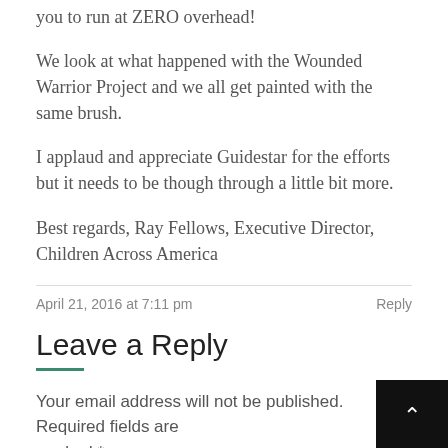you to run at ZERO overhead!
We look at what happened with the Wounded Warrior Project and we all get painted with the same brush.
I applaud and appreciate Guidestar for the efforts but it needs to be though through a little bit more.
Best regards, Ray Fellows, Executive Director, Children Across America
April 21, 2016 at 7:11 pm
Reply
Leave a Reply
Your email address will not be published. Required fields are marked *